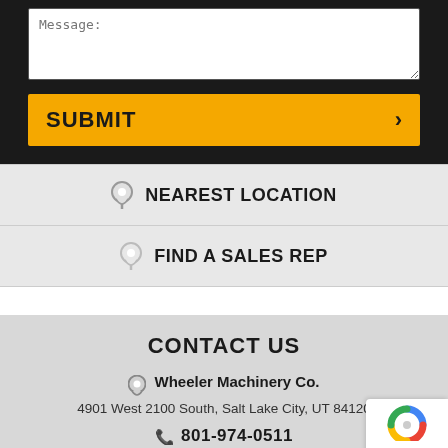Message:
SUBMIT
NEAREST LOCATION
FIND A SALES REP
CONTACT US
Wheeler Machinery Co.
4901 West 2100 South, Salt Lake City, UT 84120
801-974-0511